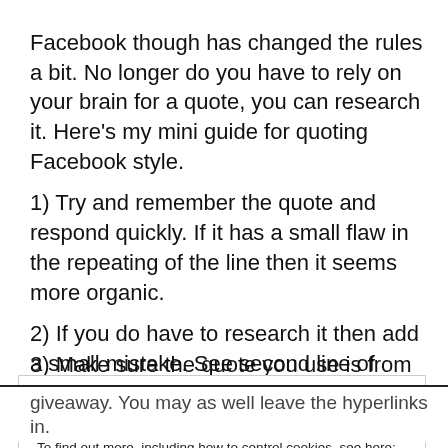Facebook though has changed the rules a bit. No longer do you have to rely on your brain for a quote, you can research it. Here's my mini guide for quoting Facebook style.
1) Try and remember the quote and respond quickly. If it has a small flaw in the repeating of the line then it seems more organic.
2) If you do have to research it then add a small mistake. See second line of number 1.
3) Make sure the quote you use is from the same film.
Privacy & Cookies: This site uses cookies. By continuing to use this website, you agree to their use.
To find out more, including how to control cookies, see here: Cookie Policy
giveaway. You may as well leave the hyperlinks in.